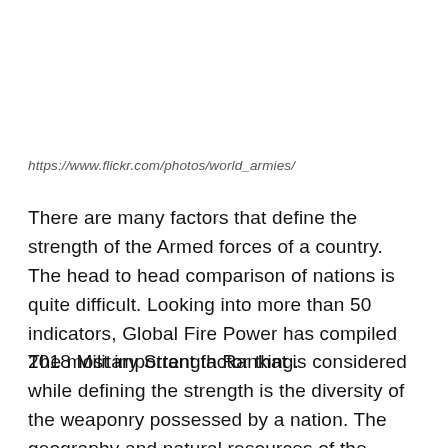https://www.flickr.com/photos/world_armies/
There are many factors that define the strength of the Armed forces of a country. The head to head comparison of nations is quite difficult. Looking into more than 50 indicators, Global Fire Power has compiled 2018 Military Strength Ranking.
The most important factor that is considered while defining the strength is the diversity of the weaponry possessed by a nation. The geography and natural resources of the region are taken into